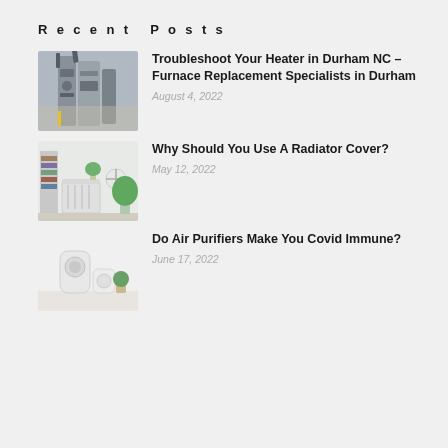Recent Posts
Troubleshoot Your Heater in Durham NC – Furnace Replacement Specialists in Durham | August 4, 2022
Why Should You Use A Radiator Cover? | May 12, 2022
Do Air Purifiers Make You Covid Immune? | June 17, 2022